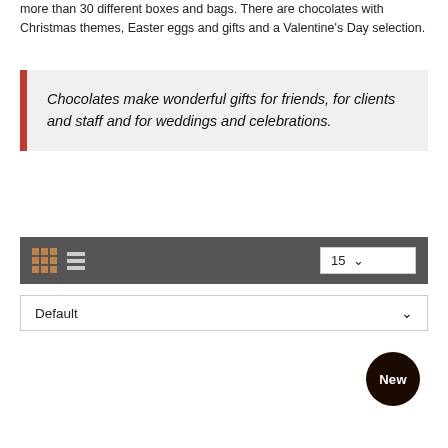more than 30 different boxes and bags. There are chocolates with Christmas themes, Easter eggs and gifts and a Valentine's Day selection.
Chocolates make wonderful gifts for friends, for clients and staff and for weddings and celebrations.
[Figure (screenshot): A toolbar with grid/list view icons and a '15' per-page selector, plus a 'Default' sort dropdown below it.]
[Figure (infographic): A dark circular badge labelled 'New']